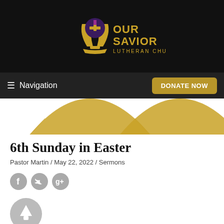[Figure (logo): Our Savior Lutheran Church logo with chalice and cross icon in gold and purple, with text 'OUR SAVIOR LUTHERAN CHURCH' in gold]
Navigation | DONATE NOW
[Figure (illustration): Partial view of golden arch/chalice decorative graphic against white background]
6th Sunday in Easter
Pastor Martin / May 22, 2022 / Sermons
[Figure (illustration): Social media share icons: Facebook, Twitter, Google+]
[Figure (illustration): Podcast/audio play button circular icon in gray]